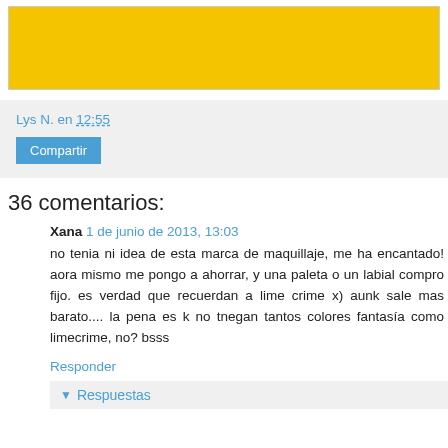[Figure (other): Yellow banner/advertisement area]
Lys N. en 12:55
Compartir
36 comentarios:
Xana  1 de junio de 2013, 13:03
no tenia ni idea de esta marca de maquillaje, me ha encantado! aora mismo me pongo a ahorrar, y una paleta o un labial compro fijo. es verdad que recuerdan a lime crime x) aunk sale mas barato.... la pena es k no tnegan tantos colores fantasía como limecrime, no? bsss
Responder
Respuestas